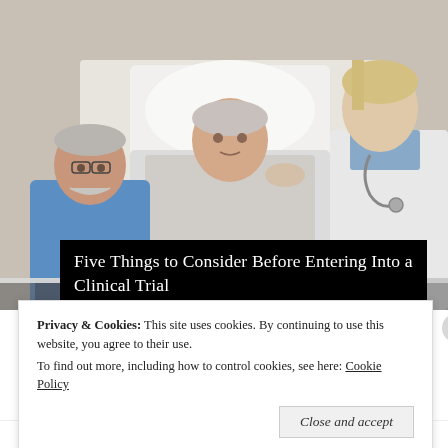[Figure (photo): A hospital scene showing an elderly woman lying in a hospital bed, an older man in a blue shirt sitting beside her, and a female doctor in a white coat with a stethoscope. Video player controls (skip back, pause, skip forward) are visible overlaid at the bottom right of the image.]
Five Things to Consider Before Entering Into a Clinical Trial
Privacy & Cookies: This site uses cookies. By continuing to use this website, you agree to their use.
To find out more, including how to control cookies, see here: Cookie Policy
Close and accept